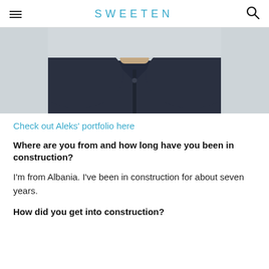SWEETEN
[Figure (photo): Partial photo of a man wearing a dark navy button-up shirt, showing his neck and shoulders area with a light gray background.]
Check out Aleks' portfolio here
Where are you from and how long have you been in construction?
I'm from Albania. I've been in construction for about seven years.
How did you get into construction?